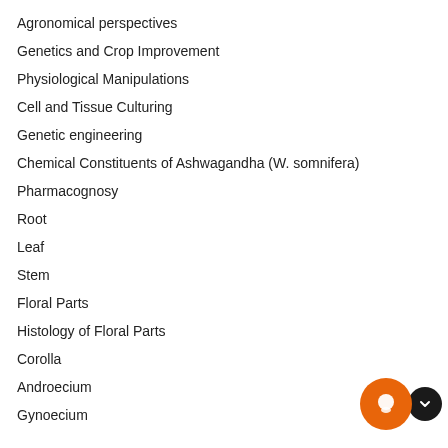Agronomical perspectives
Genetics and Crop Improvement
Physiological Manipulations
Cell and Tissue Culturing
Genetic engineering
Chemical Constituents of Ashwagandha (W. somnifera)
Pharmacognosy
Root
Leaf
Stem
Floral Parts
Histology of Floral Parts
Corolla
Androecium
Gynoecium